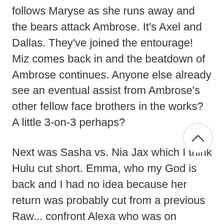follows Maryse as she runs away and the bears attack Ambrose. It's Axel and Dallas. They've joined the entourage! Miz comes back in and the beatdown of Ambrose continues. Anyone else already see an eventual assist from Ambrose's other fellow face brothers in the works? A little 3-on-3 perhaps?
Next was Sasha vs. Nia Jax which I think Hulu cut short. Emma, who my God is back and I had no idea because her return was probably cut from a previous Raw... confront Alexa who was on commentary. They end up in the ring and Alexa hides behind Nia. Nia moves Alexa back in front of her and eventually Emma kicks Nia by